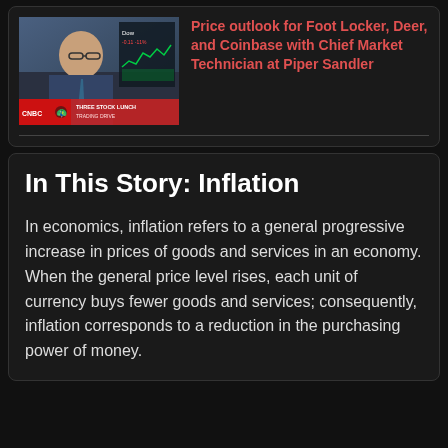[Figure (screenshot): Video thumbnail showing a man in a suit with glasses on a financial news broadcast. The overlay reads 'THREE STOCK LUNCH TRADING DRIVE' with a stock chart visible in the background.]
Price outlook for Foot Locker, Deer, and Coinbase with Chief Market Technician at Piper Sandler
In This Story: Inflation
In economics, inflation refers to a general progressive increase in prices of goods and services in an economy. When the general price level rises, each unit of currency buys fewer goods and services; consequently, inflation corresponds to a reduction in the purchasing power of money.